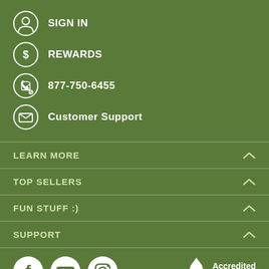SIGN IN
REWARDS
877-750-6455
Customer Support
LEARN MORE
TOP SELLERS
FUN STUFF :)
SUPPORT
[Figure (logo): Social media icons: Facebook, YouTube, Instagram; BBB Accredited Business logo]
Copyright © 2022 Organixx. All rights reserved.